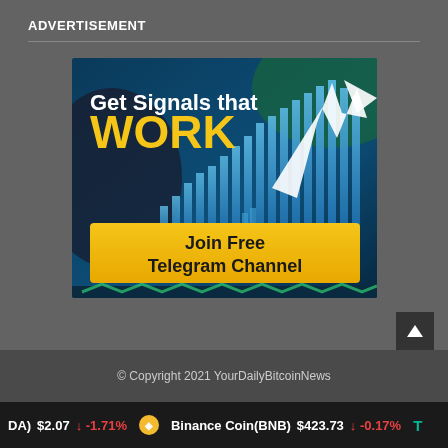ADVERTISEMENT
[Figure (illustration): Advertisement banner for a crypto trading signals Telegram channel. Dark blue background with bar chart and upward arrow graphic. Text reads 'Get Signals that WORK' in white and yellow. Yellow button at bottom says 'Join Free Telegram Channel'.]
© Copyright 2021 YourDailyBitcoinNews
DA) $2.07 ↓ -1.71% Binance Coin(BNB) $423.73 ↓ -0.17% T